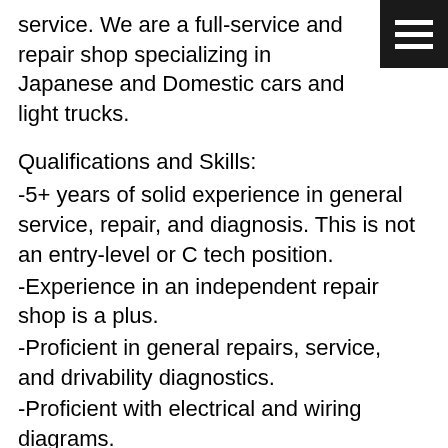service. We are a full-service and repair shop specializing in Japanese and Domestic cars and light trucks.
Qualifications and Skills:
-5+ years of solid experience in general service, repair, and diagnosis. This is not an entry-level or C tech position.
-Experience in an independent repair shop is a plus.
-Proficient in general repairs, service, and drivability diagnostics.
-Proficient with electrical and wiring diagrams.
     Lab scope experience is a big plus.
-Must be punctual and able to work Monday-Friday 8 am-5 pm.